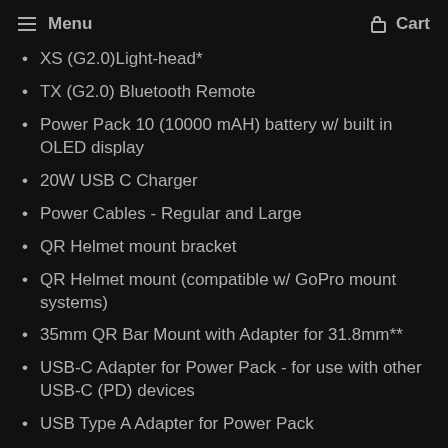Menu   Cart
XS (G2.0)Light-head*
TX (G2.0) Bluetooth Remote
Power Pack 10 (10000 mAH) battery w/ built in OLED display
20W USB C Charger
Power Cables - Regular and Large
QR Helmet mount bracket
QR Helmet mount (compatible w/ GoPro mount systems)
35mm QR Bar Mount with Adapter for 31.8mm**
USB-C Adapter for Power Pack - for use with other USB-C (PD) devices
USB Type A Adapter for Power Pack